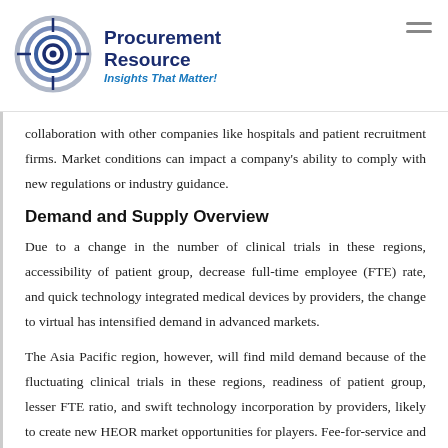Procurement Resource — Insights That Matter!
collaboration with other companies like hospitals and patient recruitment firms. Market conditions can impact a company's ability to comply with new regulations or industry guidance.
Demand and Supply Overview
Due to a change in the number of clinical trials in these regions, accessibility of patient group, decrease full-time employee (FTE) rate, and quick technology integrated medical devices by providers, the change to virtual has intensified demand in advanced markets.
The Asia Pacific region, however, will find mild demand because of the fluctuating clinical trials in these regions, readiness of patient group, lesser FTE ratio, and swift technology incorporation by providers, likely to create new HEOR market opportunities for players. Fee-for-service and Time & Management (T&M) are this category's highly familiar